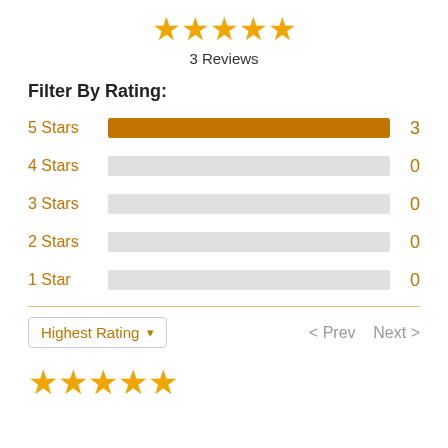[Figure (other): Five gold stars rating display at the top]
3 Reviews
Filter By Rating:
[Figure (bar-chart): Rating filter bars]
Highest Rating
< Prev  Next >
[Figure (other): Five gold stars rating display at the bottom]